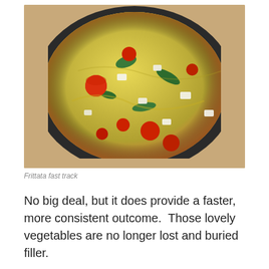[Figure (photo): A frittata in a dark non-stick skillet pan, topped with cherry tomatoes, white cheese crumbles, and green vegetables, viewed from above on a wooden surface.]
Frittata fast track
No big deal, but it does provide a faster, more consistent outcome.  Those lovely vegetables are no longer lost and buried filler.